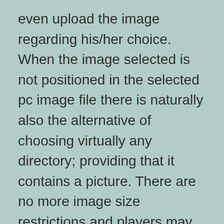even upload the image regarding his/her choice. When the image selected is not positioned in the selected pc image file there is naturally also the alternative of choosing virtually any directory; providing that it contains a picture. There are no more image size restrictions and players may amend all images using the useful emblems editor. This certain tool is effortless to use and even permits the participant to choose a wanted component of the preferred image.
Picking out a color theme